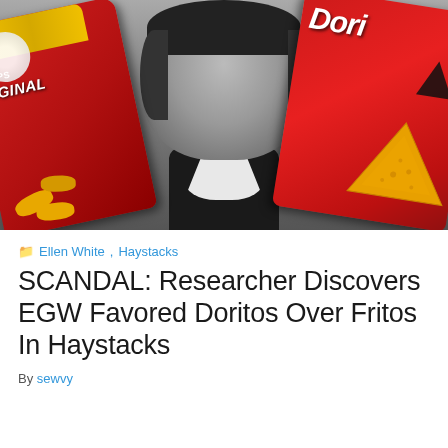[Figure (photo): Composite image of a historical black-and-white portrait photo of a woman (Ellen White), flanked by a red Fritos chip bag on the left and a red Doritos chip bag on the right, against a gray background.]
Ellen White, Haystacks
SCANDAL: Researcher Discovers EGW Favored Doritos Over Fritos In Haystacks
By sewvy